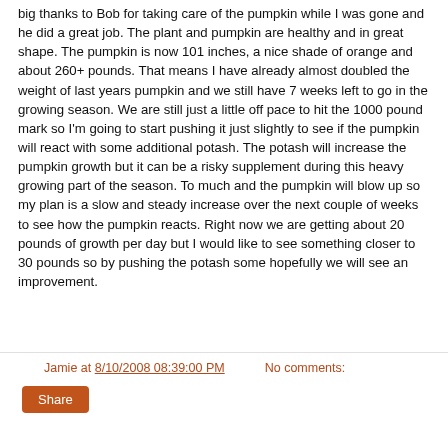big thanks to Bob for taking care of the pumpkin while I was gone and he did a great job. The plant and pumpkin are healthy and in great shape. The pumpkin is now 101 inches, a nice shade of orange and about 260+ pounds. That means I have already almost doubled the weight of last years pumpkin and we still have 7 weeks left to go in the growing season. We are still just a little off pace to hit the 1000 pound mark so I'm going to start pushing it just slightly to see if the pumpkin will react with some additional potash. The potash will increase the pumpkin growth but it can be a risky supplement during this heavy growing part of the season. To much and the pumpkin will blow up so my plan is a slow and steady increase over the next couple of weeks to see how the pumpkin reacts. Right now we are getting about 20 pounds of growth per day but I would like to see something closer to 30 pounds so by pushing the potash some hopefully we will see an improvement.
Jamie at 8/10/2008 08:39:00 PM   No comments:
Share